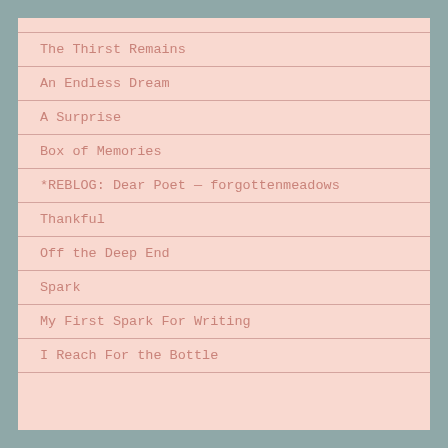The Thirst Remains
An Endless Dream
A Surprise
Box of Memories
*REBLOG: Dear Poet — forgottenmeadows
Thankful
Off the Deep End
Spark
My First Spark For Writing
I Reach For the Bottle